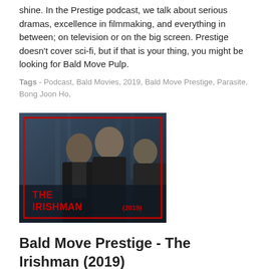shine. In the Prestige podcast, we talk about serious dramas, excellence in filmmaking, and everything in between; on television or on the big screen. Prestige doesn't cover sci-fi, but if that is your thing, you might be looking for Bald Move Pulp.
Tags - Podcast, Bald Movies, 2019, Bald Move Prestige, Parasite, Bong Joon Ho,
[Figure (photo): Movie poster/thumbnail for The Irishman (2019) showing three men in suits against a blue-toned background, with THE IRISHMAN in red text and (2019) in red on the right, enclosed in a red border.]
Bald Move Prestige - The Irishman (2019)
Bald Move Prestige is where the best of the best come to